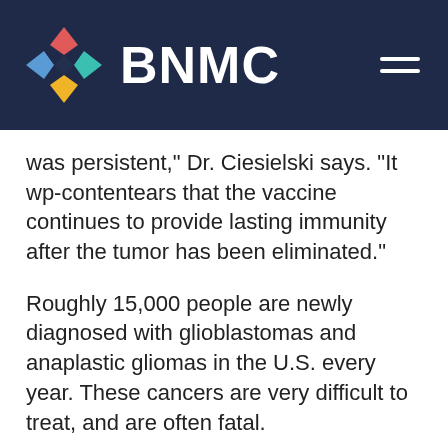[Figure (logo): BNMC logo with colorful diamond/chevron shapes and white BNMC text on dark navy background header]
was persistent," Dr. Ciesielski says. "It wp-contentears that the vaccine continues to provide lasting immunity after the tumor has been eliminated."
Roughly 15,000 people are newly diagnosed with glioblastomas and anaplastic gliomas in the U.S. every year. These cancers are very difficult to treat, and are often fatal.
"Survival rates for malignant gliomas have improved modestly over the last two decades, but better therapies are desperately needed," Dr. Fenstermaker says. "We're anxious to move ahead